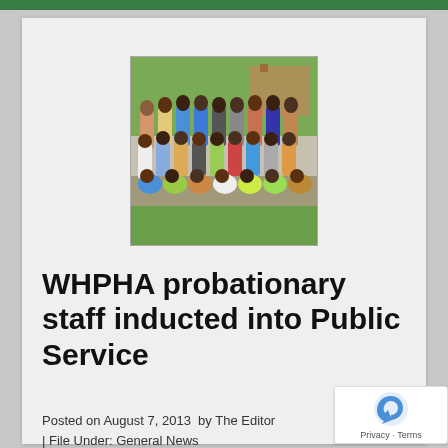[Figure (photo): Group photo of more than 100 probationary staff of the Western Highlands Provincial Health Authority (WHPHA), standing and sitting outdoors on grass, with trees and a building in the background.]
WHPHA probationary staff inducted into Public Service
Posted on August 7, 2013  by The Editor | File Under: General News
More than 100 probationary staff of the Western Highlands